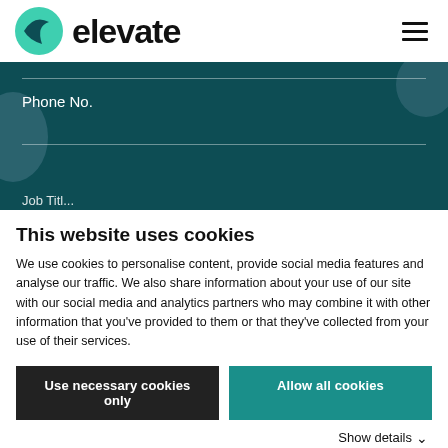[Figure (logo): Elevate logo with teal circular icon and bold 'elevate' text]
[Figure (screenshot): Dark teal form section showing a 'Phone No.' input field with decorative circular shapes on left and right sides, and partial text at bottom]
This website uses cookies
We use cookies to personalise content, provide social media features and analyse our traffic. We also share information about your use of our site with our social media and analytics partners who may combine it with other information that you've provided to them or that they've collected from your use of their services.
Use necessary cookies only
Allow all cookies
Show details